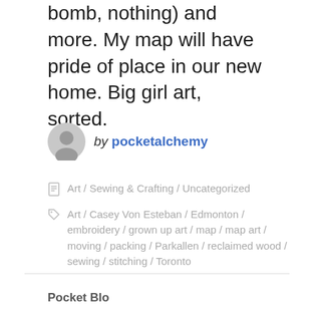(Nothing compares to a carefully embroidered bomb, nothing) and more. My map will have pride of place in our new home. Big girl art, sorted.
by pocketalchemy
Art / Sewing & Crafting / Uncategorized
Art / Casey Von Esteban / Edmonton / embroidery / grown up art / map / map art / moving / packing / Parkallen / reclaimed wood / sewing / stitching / Toronto
Pocket Blo…